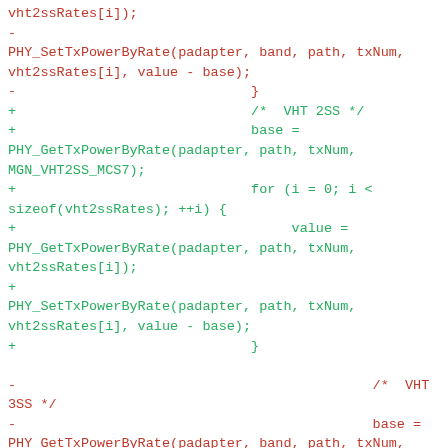Code diff showing VHT 2SS and VHT 3SS power rate setting changes. Red lines are removals, green lines are additions.